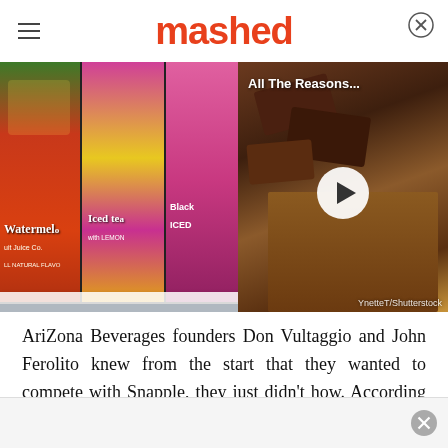mashed
[Figure (photo): Arizona Beverages cans (Watermelon, Iced Tea, Black Iced) on a store shelf, with a video overlay showing chocolate pieces and a play button, titled 'All The Reasons...'. Credit: YnetteT/Shutterstock]
AriZona Beverages founders Don Vultaggio and John Ferolito knew from the start that they wanted to compete with Snapple, they just didn't how. According to Forbes, this issue came to a head during a trip to a manufacturing plant whe...